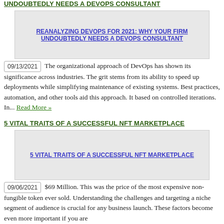UNDOUBTEDLY NEEDS A DEVOPS CONSULTANT
[Figure (illustration): Article thumbnail image for 'Reanalyzing DevOps for 2021: Why Your Firm Undoubtedly Needs a DevOps Consultant']
09/13/2021 The organizational approach of DevOps has shown its significance across industries. The grit stems from its ability to speed up deployments while simplifying maintenance of existing systems. Best practices, automation, and other tools aid this approach. It based on controlled iterations. In... Read More »
5 VITAL TRAITS OF A SUCCESSFUL NFT MARKETPLACE
[Figure (illustration): Article thumbnail image for '5 Vital Traits of a Successful NFT Marketplace']
09/06/2021 $69 Million. This was the price of the most expensive non-fungible token ever sold. Understanding the challenges and targeting a niche segment of audience is crucial for any business launch. These factors become even more important if you are planning to launch an NFT marketplace and this time... Read More »